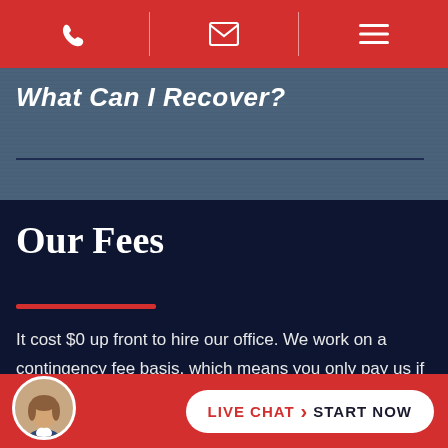[Navigation bar with phone, email, and menu icons]
What Can I Recover?
Our Fees
It cost $0 up front to hire our office. We work on a contingency fee basis, which means you only pay us if we settle your case or obtain a ver[dict for you].
[Figure (photo): Live chat avatar photo of a woman, with a LIVE CHAT › START NOW button on a red bar at the bottom of the page]